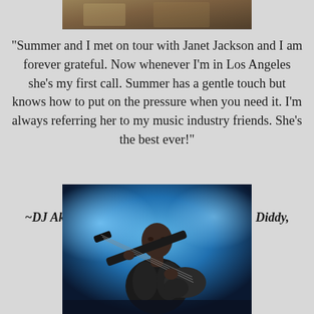[Figure (photo): Top portion of a photo, partially cropped at the top of the page]
"Summer and I met on tour with Janet Jackson and I am forever grateful.  Now whenever I'm in Los Angeles she's my first call.  Summer has a gentle touch but knows how to put on the pressure when you need it.  I'm always referring her to my music industry friends. She's the best ever!"
~DJ Aktive – Janet Jackson, Kanye West, P. Diddy, Miley Cyrus, The Roots
[Figure (photo): A musician playing bass guitar on stage with blue stage lighting behind them]